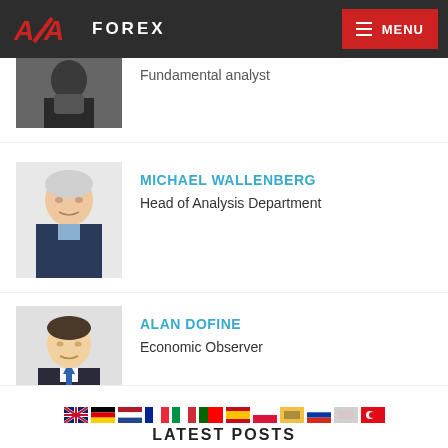AZA FOREX — MENU
Fundamental analyst
MICHAEL WALLENBERG
Head of Analysis Department
ALAN DOFINE
Economic Observer
LATEST POSTS